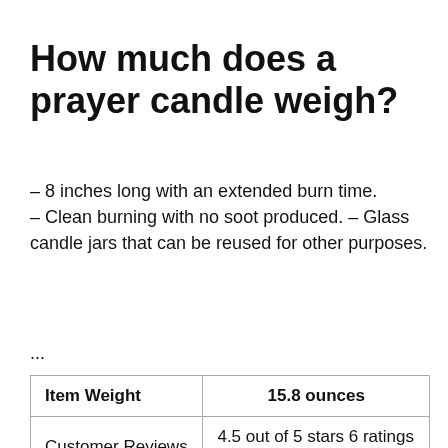How much does a prayer candle weigh?
– 8 inches long with an extended burn time. – Clean burning with no soot produced. – Glass candle jars that can be reused for other purposes.
...
| Item Weight | 15.8 ounces |
| --- | --- |
| Customer Reviews | 4.5 out of 5 stars 6 ratings
4.5 out of 5 stars |
How much does a religious